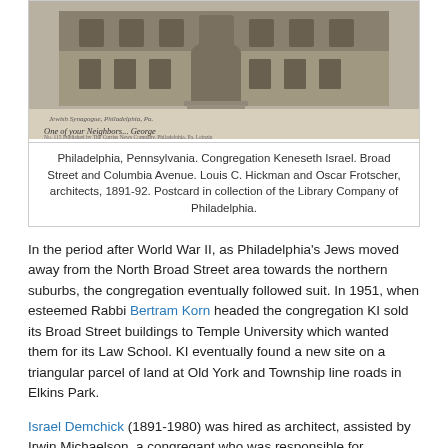[Figure (photo): Black and white postcard photo of a large synagogue building on a street corner, with handwritten text on the lower portion reading 'Jewish Synagogue, Philadelphia, Pa. One of your Neighbors... George. No. 115 Published by The Curtiss News Company, Philadelphia, Pa. Leipzig.']
Philadelphia, Pennsylvania. Congregation Keneseth Israel. Broad Street and Columbia Avenue. Louis C. Hickman and Oscar Frotscher, architects, 1891-92. Postcard in collection of the Library Company of Philadelphia.
In the period after World War II, as Philadelphia's Jews moved away from the North Broad Street area towards the northern suburbs, the congregation eventually followed suit. In 1951, when esteemed Rabbi Bertram Korn headed the congregation KI sold its Broad Street buildings to Temple University which wanted them for its Law School. KI eventually found a new site on a triangular parcel of land at Old York and Township line roads in Elkins Park.
Israel Demchick (1891-1980) was hired as architect, assisted by Irwin Michaelson, a congregant who was responsible for engineering decisions. Demchick is an architect who deserves further study. He was born in Russia, came to America as a boy, and graduated from Southern and Manual Training High School for Boys (later South Philadelphia High School) in 1911. Like many ambitious young Philadelphia Jews, he was able to study architecture at the University of Pennsylvania from which he graduated in 1915. At Penn he studied with Paul P. Cret and